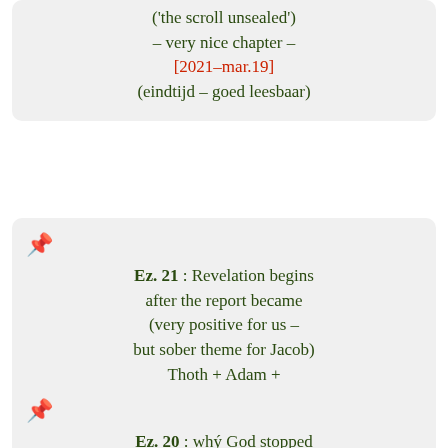('the scroll unsealed') – very nice chapter – [2021–mar.19] (eindtijd – goed leesbaar)
Ez. 21 : Revelation begins after the report became (very positive for us – but sober theme for Jacob) Thoth + Adam + sons of Ammon judged [2021–mar.17] (eindtijd – goed leesbaar)
Ez. 20 : whý God stopped speaking to souls : how the sons will need